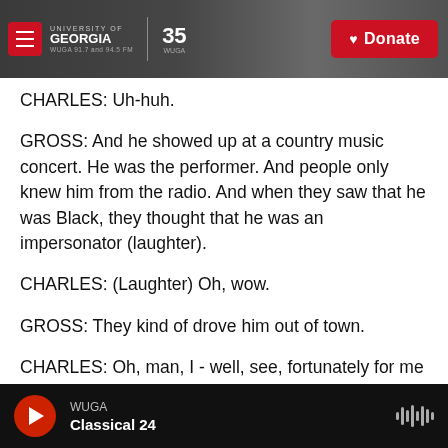[Figure (screenshot): University of Georgia WUGA 91.7 and 94.5 FM radio station header banner with logo, 35 WUGA badge, and red Donate button]
CHARLES: Uh-huh.
GROSS: And he showed up at a country music concert. He was the performer. And people only knew him from the radio. And when they saw that he was Black, they thought that he was an impersonator (laughter).
CHARLES: (Laughter) Oh, wow.
GROSS: They kind of drove him out of town.
CHARLES: Oh, man, I - well, see, fortunately for me -
WUGA Classical 24